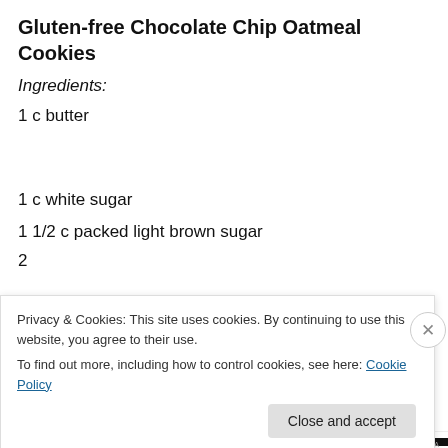Gluten-free Chocolate Chip Oatmeal Cookies
Ingredients:
1 c butter
1 c white sugar
1 1/2 c packed light brown sugar
Privacy & Cookies: This site uses cookies. By continuing to use this website, you agree to their use. To find out more, including how to control cookies, see here: Cookie Policy
Close and accept